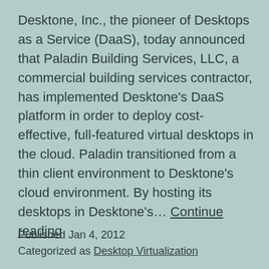Desktone, Inc., the pioneer of Desktops as a Service (DaaS), today announced that Paladin Building Services, LLC, a commercial building services contractor, has implemented Desktone's DaaS platform in order to deploy cost-effective, full-featured virtual desktops in the cloud. Paladin transitioned from a thin client environment to Desktone's cloud environment. By hosting its desktops in Desktone's… Continue reading
Published Jan 4, 2012
Categorized as Desktop Virtualization